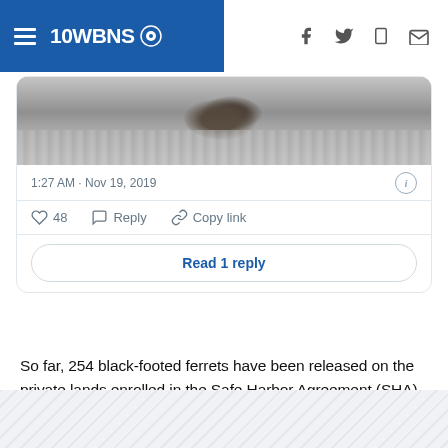10WBNS CBS
[Figure (screenshot): Embedded tweet showing a wildlife photo (dark animal on snowy/grey ground), timestamp 1:27 AM · Nov 19, 2019, with 48 likes, Reply, Copy link actions, and a Read 1 reply button]
So far, 254 black-footed ferrets have been released on the private lands enrolled in the Safe Harbor Agreement (SHA) program. Most were raised in captivity at special breeding facilities.